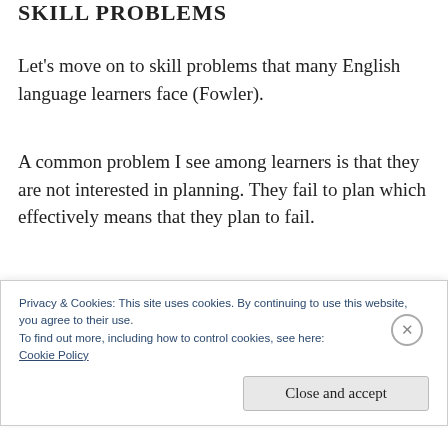SKILL PROBLEMS
Let's move on to skill problems that many English language learners face (Fowler).
A common problem I see among learners is that they are not interested in planning. They fail to plan which effectively means that they plan to fail.
Another problem is that they do not how to
Privacy & Cookies: This site uses cookies. By continuing to use this website, you agree to their use.
To find out more, including how to control cookies, see here:
Cookie Policy
Close and accept